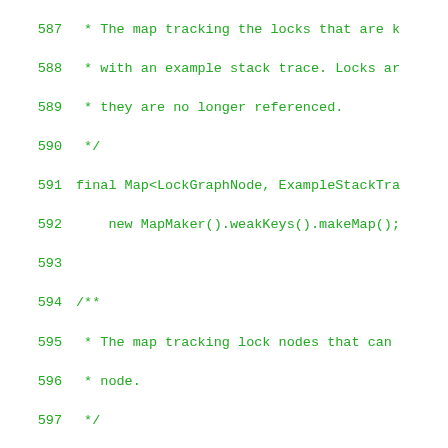[Figure (screenshot): Source code listing (Java) showing lines 587–615, displaying LockGraphNode class implementation with comments and methods including constructor, getLockName(), and checkAcquiredLocks(). Code is shown in green monospace font on white background.]